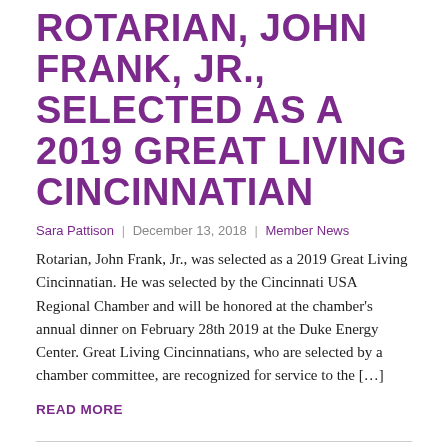ROTARIAN, JOHN FRANK, JR., SELECTED AS A 2019 GREAT LIVING CINCINNATIAN
Sara Pattison | December 13, 2018 | Member News
Rotarian, John Frank, Jr., was selected as a 2019 Great Living Cincinnatian. He was selected by the Cincinnati USA Regional Chamber and will be honored at the chamber's annual dinner on February 28th 2019 at the Duke Energy Center. Great Living Cincinnatians, who are selected by a chamber committee, are recognized for service to the […]
READ MORE
BILL SHULA ELECTED 2015-2016 DISTRICT GOVERNOR, DISTRICT